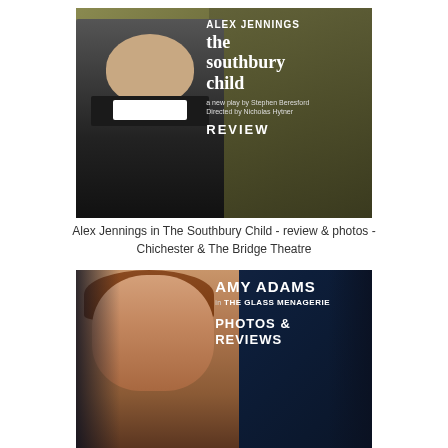[Figure (photo): Promotional poster for 'The Southbury Child' theatre production. Features actor Alex Jennings dressed as a priest in dark clothing with white collar, set against a muted olive/khaki background with a village silhouette. Text reads: ALEX JENNINGS, the southbury child, a new play by Stephen Beresford, Directed by Nicholas Hytner, REVIEW.]
Alex Jennings in The Southbury Child - review & photos - Chichester & The Bridge Theatre
[Figure (photo): Promotional poster for 'The Glass Menagerie' featuring Amy Adams. Shows a close-up of a woman with auburn hair pulled back, intense expression, against dark blue backgrounds with shadowy faces. Text reads: AMY ADAMS, in THE GLASS MENAGERIE, PHOTOS & REVIEWS.]